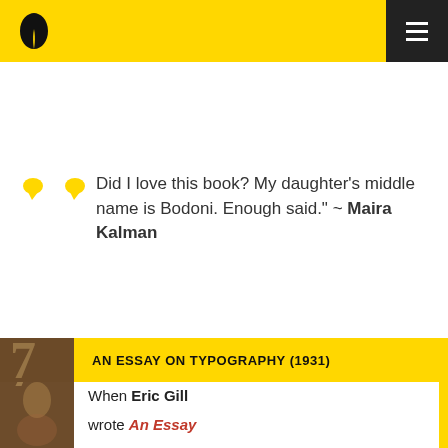[Figure (logo): Yellow navigation header bar with a black leaf/book logo on the left and a black hamburger menu button on the right]
Did I love this book? My daughter's middle name is Bodoni. Enough said." ~ Maira Kalman
[Figure (illustration): Book card section with yellow header bar reading AN ESSAY ON TYPOGRAPHY (1931), a decorative vintage book cover thumbnail showing a large number 7 with illustrated figures, and body text starting with 'When Eric Gill wrote An Essay']
AN ESSAY ON TYPOGRAPHY (1931)
When Eric Gill

wrote An Essay